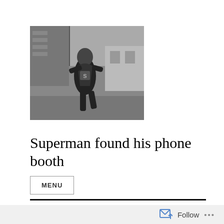[Figure (photo): Black and white photo of Superman (Christopher Reeve) running while opening his shirt to reveal the Superman logo, on a street scene.]
Superman found his phone booth
MENU
Day: April 5, 2020
Follow ...